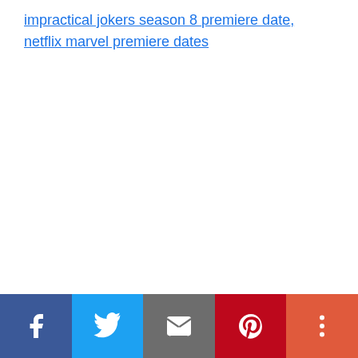impractical jokers season 8 premiere date, netflix marvel premiere dates
[Figure (other): Social share bar with Facebook, Twitter, Email, Pinterest, and More buttons]